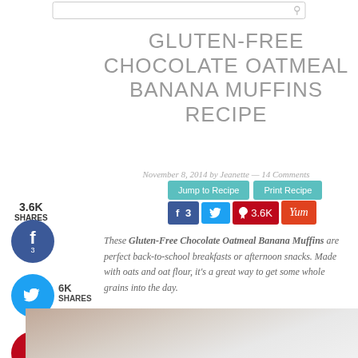GLUTEN-FREE CHOCOLATE OATMEAL BANANA MUFFINS RECIPE
November 8, 2014 by Jeanette — 14 Comments
Jump to Recipe | Print Recipe
3   (Facebook shares)  (Twitter)  3.6K (Pinterest)  Yum
3.6K SHARES (left panel)
These Gluten-Free Chocolate Oatmeal Banana Muffins are perfect back-to-school breakfasts or afternoon snacks. Made with oats and oat flour, it's a great way to get some whole grains into the day.
[Figure (photo): Partial photo of muffins at bottom of page]